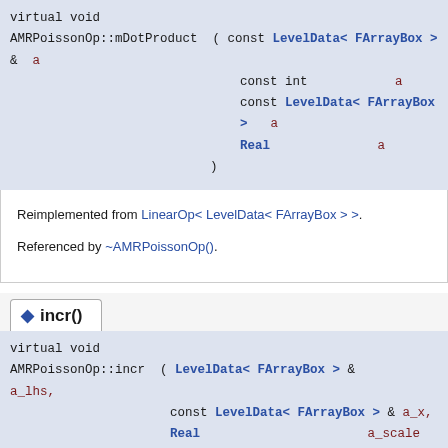virtual void AMRPoissonOp::mDotProduct ( const LevelData< FArrayBox > & a_
    const int a_
    const LevelData< FArrayBox > a_
    Real a_
    )
Reimplemented from LinearOp< LevelData< FArrayBox > >.
Referenced by ~AMRPoissonOp().
incr()
virtual void AMRPoissonOp::incr ( LevelData< FArrayBox > & a_lhs,
    const LevelData< FArrayBox > & a_x,
    Real a_scale
    )